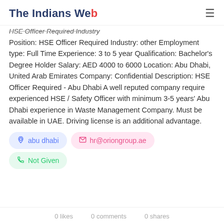The Indians Web
HSE Officer Required Industry
Position: HSE Officer Required Industry: other Employment type: Full Time Experience: 3 to 5 year Qualification: Bachelor's Degree Holder Salary: AED 4000 to 6000 Location: Abu Dhabi, United Arab Emirates Company: Confidential Description: HSE Officer Required - Abu Dhabi A well reputed company require experienced HSE / Safety Officer with minimum 3-5 years' Abu Dhabi experience in Waste Management Company. Must be available in UAE. Driving license is an additional advantage.
abu dhabi
hr@oriongroup.ae
Not Given
0 likes   0 comments   0 shares